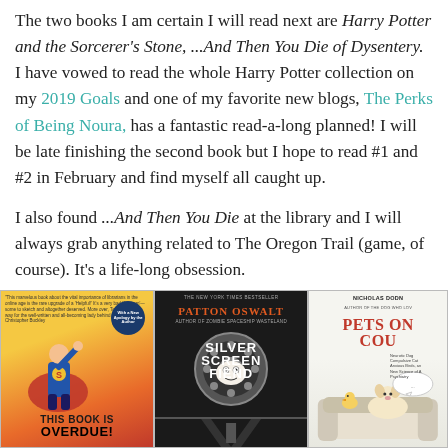The two books I am certain I will read next are Harry Potter and the Sorcerer's Stone, ...And Then You Die of Dysentery. I have vowed to read the whole Harry Potter collection on my 2019 Goals and one of my favorite new blogs, The Perks of Being Noura, has a fantastic read-a-long planned! I will be late finishing the second book but I hope to read #1 and #2 in February and find myself all caught up.
I also found ...And Then You Die at the library and I will always grab anything related to The Oregon Trail (game, of course). It's a life-long obsession.
[Figure (illustration): Three book covers in a row: 'This Book is Overdue!' by Marilyn Johnson, 'Silver Screen Fiend' by Patton Oswalt, and 'Pets on the Couch' by Nicholas Dodman]